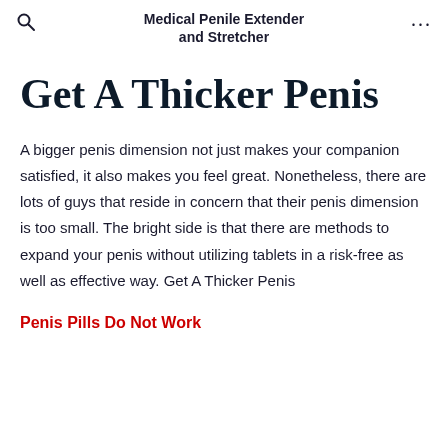Medical Penile Extender and Stretcher
Get A Thicker Penis
A bigger penis dimension not just makes your companion satisfied, it also makes you feel great. Nonetheless, there are lots of guys that reside in concern that their penis dimension is too small. The bright side is that there are methods to expand your penis without utilizing tablets in a risk-free as well as effective way. Get A Thicker Penis
Penis Pills Do Not Work